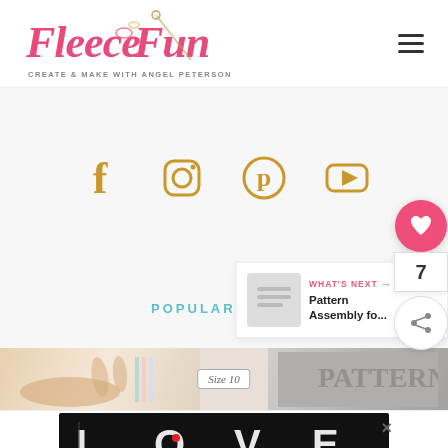[Figure (logo): Fleece Fun logo - pink cursive text 'Fleece Fun' with 'CREATE & MAKE WITH ANGEL PETERSON' subtitle, decorative needle and thread]
[Figure (infographic): Social media icons row: Facebook, Instagram, Pinterest, YouTube in golden/amber color]
[Figure (infographic): Floating action buttons on right: pink heart button, count '7', share button]
POPULAR ITEMS
[Figure (infographic): What's Next panel with arrow: 'Pattern Assembly fo...' with thumbnail]
[Figure (photo): Content strip showing sewing/craft content with 'Size 10' badge]
[Figure (infographic): Advertisement banner with LOVE text art and close button, brand logo]